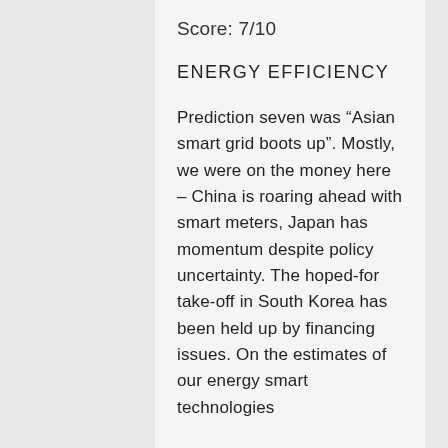Score: 7/10
ENERGY EFFICIENCY
Prediction seven was “Asian smart grid boots up”. Mostly, we were on the money here – China is roaring ahead with smart meters, Japan has momentum despite policy uncertainty. The hoped-for take-off in South Korea has been held up by financing issues. On the estimates of our energy smart technologies